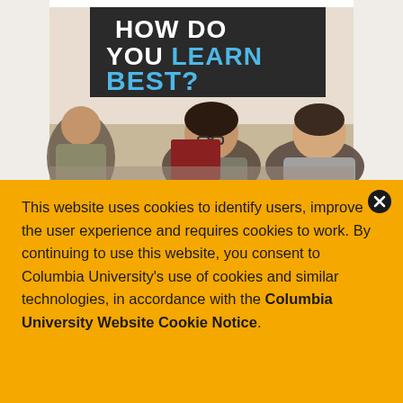[Figure (photo): A classroom scene with two women in conversation. Behind them is a large dark banner with text 'HOW DO YOU LEARN BEST?' in white and blue letters. A third person is partially visible on the left.]
This website uses cookies to identify users, improve the user experience and requires cookies to work. By continuing to use this website, you consent to Columbia University's use of cookies and similar technologies, in accordance with the Columbia University Website Cookie Notice.